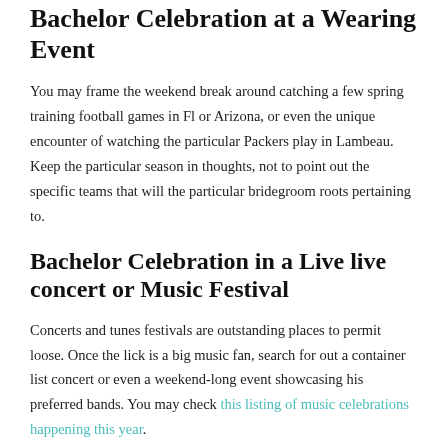Bachelor Celebration at a Wearing Event
You may frame the weekend break around catching a few spring training football games in Fl or Arizona, or even the unique encounter of watching the particular Packers play in Lambeau. Keep the particular season in thoughts, not to point out the specific teams that will the particular bridegroom roots pertaining to.
Bachelor Celebration in a Live live concert or Music Festival
Concerts and tunes festivals are outstanding places to permit loose. Once the lick is a big music fan, search for out a container list concert or even a weekend-long event showcasing his preferred bands. You may check this listing of music celebrations happening this year.